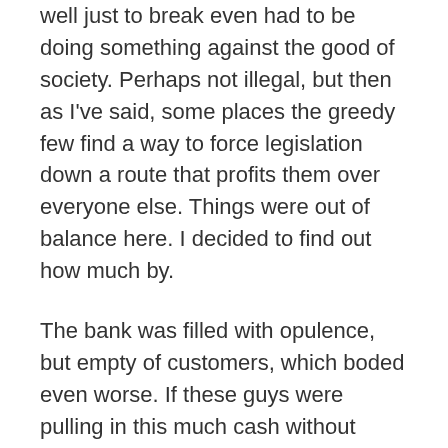well just to break even had to be doing something against the good of society. Perhaps not illegal, but then as I've said, some places the greedy few find a way to force legislation down a route that profits them over everyone else. Things were out of balance here. I decided to find out how much by.
The bank was filled with opulence, but empty of customers, which boded even worse. If these guys were pulling in this much cash without regular daily business, it meant they had a strangle hold on folks around here. I considered my options and came up with none I liked much.
This kind of wealth meant the bank probably owned most of the businesses hereabouts